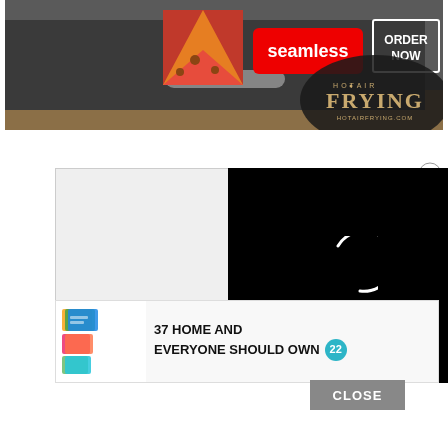[Figure (screenshot): Seamless food delivery advertisement banner at top with pizza image, Seamless red logo, and ORDER NOW button in white box outline; below that a HOT AIR FRYING logo with HOTAIRFRYING.COM text on dark background]
[Figure (screenshot): Modal advertisement overlay on gray background showing storage bags image on left with text '37 HOME AND EVERYONE SHOULD OWN' with teal circle badge '22'; right side shows black video loading screen with white spinner circle; close X button top right; CLOSE button bottom]
37 HOME AND EVERYONE SHOULD OWN
CLOSE